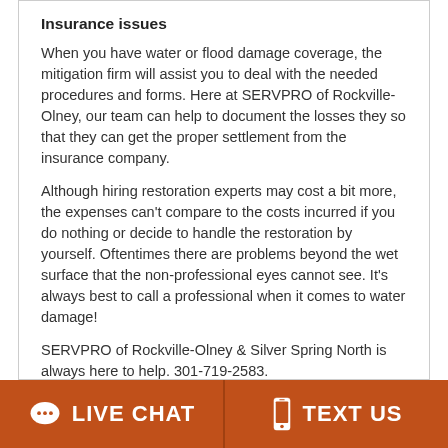Insurance issues
When you have water or flood damage coverage, the mitigation firm will assist you to deal with the needed procedures and forms. Here at SERVPRO of Rockville-Olney, our team can help to document the losses they so that they can get the proper settlement from the insurance company.
Although hiring restoration experts may cost a bit more, the expenses can't compare to the costs incurred if you do nothing or decide to handle the restoration by yourself. Oftentimes there are problems beyond the wet surface that the non-professional eyes cannot see. It's always best to call a professional when it comes to water damage!
SERVPRO of Rockville-Olney & Silver Spring North is always here to help. 301-719-2583.
LIVE CHAT   TEXT US